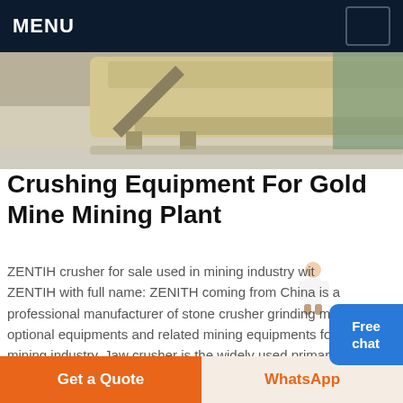MENU
[Figure (photo): Industrial crushing equipment / mining machinery partially visible]
Crushing Equipment For Gold Mine Mining Plant
ZENTIH crusher for sale used in mining industry with ZENTIH with full name: ZENITH coming from China is a professional manufacturer of stone crusher grinding mill optional equipments and related mining equipments for sale in mining industry. Jaw crusher is the widely used primary stationary crusher and c. View Details Send Enquiry